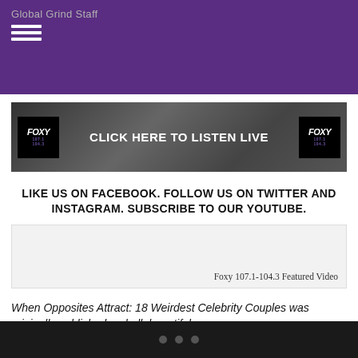Global Grind Staff
[Figure (screenshot): Foxy radio station banner ad: CLICK HERE TO LISTEN LIVE with Foxy logos on left and right]
LIKE US ON FACEBOOK. FOLLOW US ON TWITTER AND INSTAGRAM. SUBSCRIBE TO OUR YOUTUBE.
[Figure (screenshot): Foxy 107.1-104.3 Featured Video embedded video player box]
When Opposites Attract: 18 Weirdest Celebrity Couples  was originally published on hellobeautiful.com
• • •